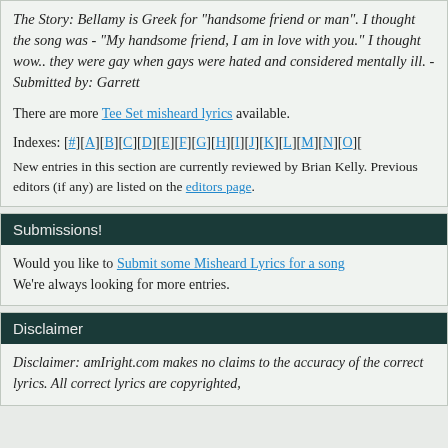The Story: Bellamy is Greek for "handsome friend or man". I thought the song was - "My handsome friend, I am in love with you." I thought wow.. they were gay when gays were hated and considered mentally ill. - Submitted by: Garrett
There are more Tee Set misheard lyrics available.
Indexes: [#][A][B][C][D][E][F][G][H][I][J][K][L][M][N][O][...]
New entries in this section are currently reviewed by Brian Kelly. Previous editors (if any) are listed on the editors page.
Submissions!
Would you like to Submit some Misheard Lyrics for a song We're always looking for more entries.
Disclaimer
Disclaimer: amIright.com makes no claims to the accuracy of the correct lyrics. All correct lyrics are copyrighted,